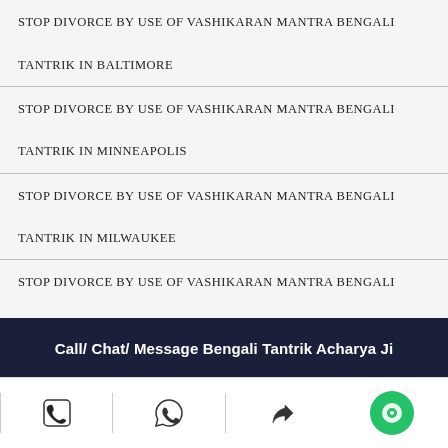STOP DIVORCE BY USE OF VASHIKARAN MANTRA BENGALI TANTRIK IN BALTIMORE
STOP DIVORCE BY USE OF VASHIKARAN MANTRA BENGALI TANTRIK IN MINNEAPOLIS
STOP DIVORCE BY USE OF VASHIKARAN MANTRA BENGALI TANTRIK IN MILWAUKEE
STOP DIVORCE BY USE OF VASHIKARAN MANTRA BENGALI TANTRIK IN NEWORLEANS
STOP DIVORCE BY USE OF VASHIKARAN MANTRA BENGALI TANTRIK IN MUMBAI
Call/ Chat/ Message Bengali Tantrik Acharya Ji